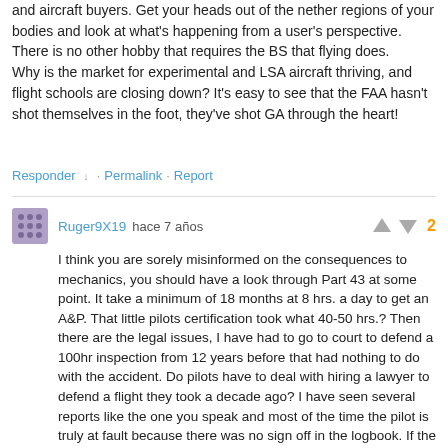and aircraft buyers. Get your heads out of the nether regions of your bodies and look at what's happening from a user's perspective. There is no other hobby that requires the BS that flying does.
Why is the market for experimental and LSA aircraft thriving, and flight schools are closing down? It's easy to see that the FAA hasn't shot themselves in the foot, they've shot GA through the heart!
Responder ↓ · Permalink · Report
Ruger9X19  hace 7 años  [vote: 2]
I think you are sorely misinformed on the consequences to mechanics, you should have a look through Part 43 at some point. It take a minimum of 18 months at 8 hrs. a day to get an A&P. That little pilots certification took what 40-50 hrs.? Then there are the legal issues, I have had to go to court to defend a 100hr inspection from 12 years before that had nothing to do with the accident. Do pilots have to deal with hiring a lawyer to defend a flight they took a decade ago? I have seen several reports like the one you speak and most of the time the pilot is truly at fault because there was no sign off in the logbook. If the paperwork is not in the book the log the plane is not airworthy and the pilot shouldn't fly. As to doing your own work if you want to spend the time and get the certification, no one is stopping you. I have seen pilots do stupid things mechanically. In most cases If you do your own work, I won't work on your airplane. I need to defend the maintenance history of the aircraft I work on